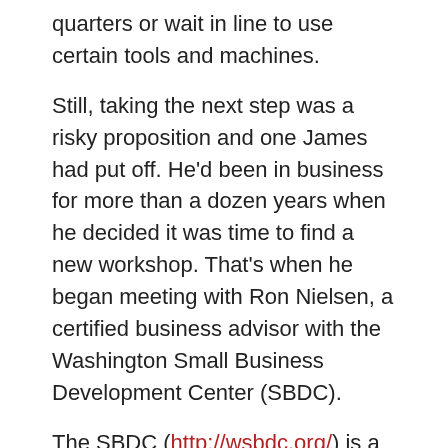quarters or wait in line to use certain tools and machines.
Still, taking the next step was a risky proposition and one James had put off. He'd been in business for more than a dozen years when he decided it was time to find a new workshop. That's when he began meeting with Ron Nielsen, a certified business advisor with the Washington Small Business Development Center (SBDC).
The SBDC (http://wsbdc.org/) is a network of more than two dozen business advisors working in communities across the state to help small business owners start, grow or transition businesses. It provides one-on-one, confidential advising at no cost.